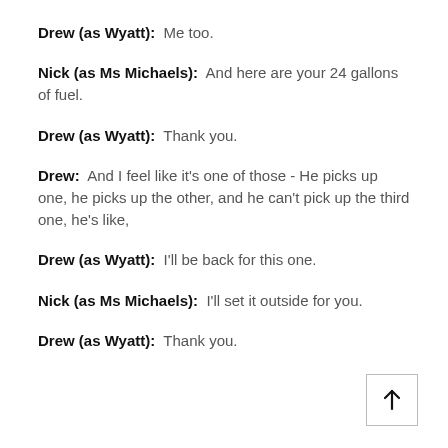Drew (as Wyatt):  Me too.
Nick (as Ms Michaels):  And here are your 24 gallons of fuel.
Drew (as Wyatt):  Thank you.
Drew:  And I feel like it's one of those - He picks up one, he picks up the other, and he can't pick up the third one, he's like,
Drew (as Wyatt):  I'll be back for this one.
Nick (as Ms Michaels):  I'll set it outside for you.
Drew (as Wyatt):  Thank you.